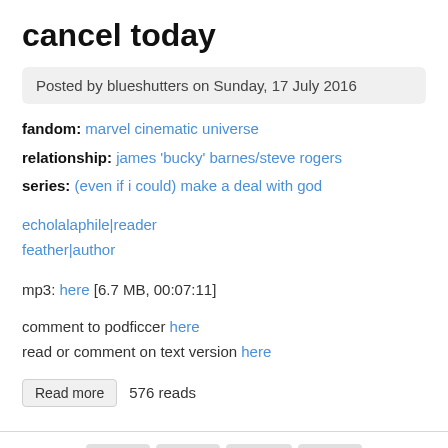cancel today
Posted by blueshutters on Sunday, 17 July 2016
fandom: marvel cinematic universe
relationship: james 'bucky' barnes/steve rogers
series: (even if i could) make a deal with god
echolalaphile|reader
feather|author
mp3: here [6.7 MB, 00:07:11]
comment to podficcer here
read or comment on text version here
Read more  576 reads
1  2  next ›  last »